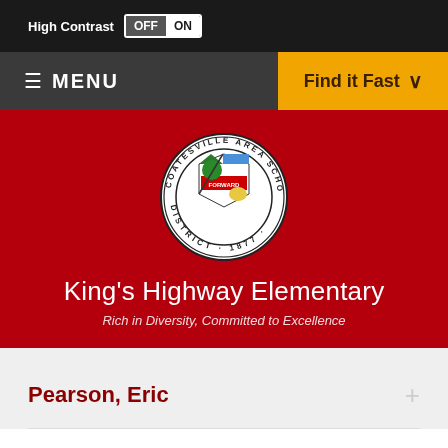High Contrast OFF ON
MENU | Find it Fast
[Figure (logo): Coatesville Area School District circular seal, established 1877, with shield bearing a tree and forward banner]
King's Highway Elementary
Rich in Diversity, Committed to Excellence
Pearson, Eric